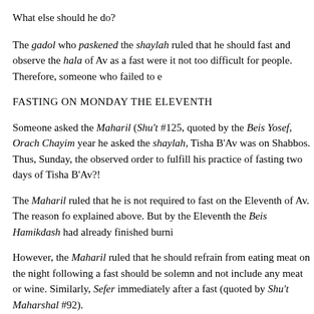What else should he do?
The gadol who paskened the shaylah ruled that he should fast and observe the hala of Av as a fast were it not too difficult for people. Therefore, someone who failed to e
FASTING ON MONDAY THE ELEVENTH
Someone asked the Maharil (Shu't #125, quoted by the Beis Yosef, Orach Chayim year he asked the shaylah, Tisha B'Av was on Shabbos. Thus, Sunday, the observed order to fulfill his practice of fasting two days of Tisha B'Av?!
The Maharil ruled that he is not required to fast on the Eleventh of Av. The reason fo explained above. But by the Eleventh the Beis Hamikdash had already finished burni
However, the Maharil ruled that he should refrain from eating meat on the night following a fast should be solemn and not include any meat or wine. Similarly, Sefer immediately after a fast (quoted by Shu't Maharshal #92).
Because of these reasons, although the halacha specifically does allow one to eat